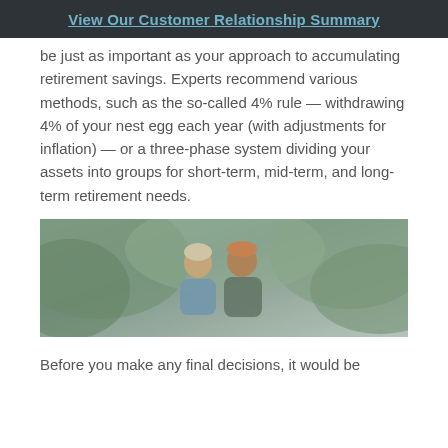View Our Customer Relationship Summary
be just as important as your approach to accumulating retirement savings. Experts recommend various methods, such as the so-called 4% rule — withdrawing 4% of your nest egg each year (with adjustments for inflation) — or a three-phase system dividing your assets into groups for short-term, mid-term, and long-term retirement needs.
[Figure (photo): Two older adults (a couple) outdoors among green foliage, appearing to be on bicycles or walking together.]
Before you make any final decisions, it would be